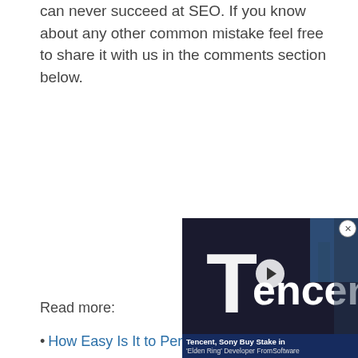can never succeed at SEO. If you know about any other common mistake feel free to share it with us in the comments section below.
Read more:
How Easy Is It to Perf…
[Figure (screenshot): Video overlay showing Tencent sign with play button and caption 'Tencent, Sony Buy Stake in \'Elden Ring\' Developer FromSoftware']